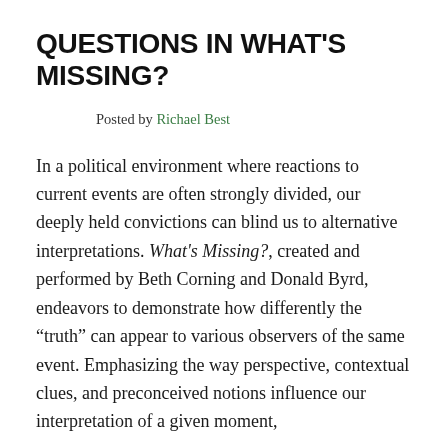QUESTIONS IN WHAT'S MISSING?
Posted by Richael Best
In a political environment where reactions to current events are often strongly divided, our deeply held convictions can blind us to alternative interpretations. What's Missing?, created and performed by Beth Corning and Donald Byrd, endeavors to demonstrate how differently the “truth” can appear to various observers of the same event. Emphasizing the way perspective, contextual clues, and preconceived notions influence our interpretation of a given moment,